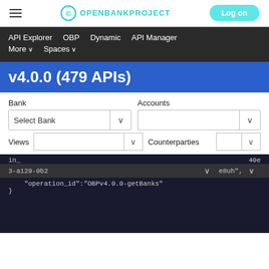OPENBANKPROJECT  Log on
API Explorer  OBP  Dynamic  API Manager  More  Spaces
v4.0.0 (479 APIs)
Bank  Accounts  Select Bank  Views  Counterparties
in_  40e
3-a129-0b2  e8uh",
    "operation_id":"OBPv4.0.0-getBanks"
}